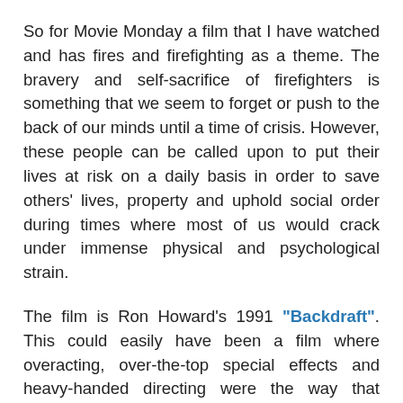So for Movie Monday a film that I have watched and has fires and firefighting as a theme. The bravery and self-sacrifice of firefighters is something that we seem to forget or push to the back of our minds until a time of crisis. However, these people can be called upon to put their lives at risk on a daily basis in order to save others' lives, property and uphold social order during times where most of us would crack under immense physical and psychological strain.
The film is Ron Howard's 1991 "Backdraft". This could easily have been a film where overacting, over-the-top special effects and heavy-handed directing were the way that things could have turned out. However, despite what the detractors say, the film is satisfying, the performances are good and the directing is excellent. The plot revolves around sibling rivalry and unresolved psychological problems from